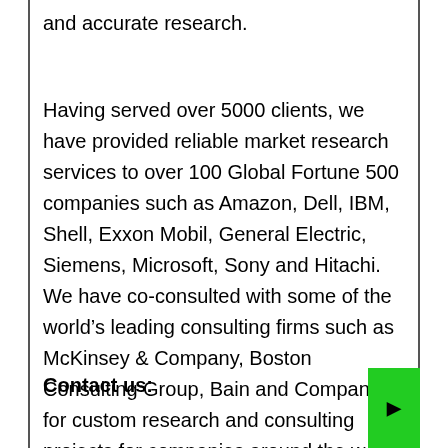and accurate research.
Having served over 5000 clients, we have provided reliable market research services to over 100 Global Fortune 500 companies such as Amazon, Dell, IBM, Shell, Exxon Mobil, General Electric, Siemens, Microsoft, Sony and Hitachi. We have co-consulted with some of the world’s leading consulting firms such as McKinsey & Company, Boston Consulting Group, Bain and Company for custom research and consulting projects for companies around the world.
Contact us: